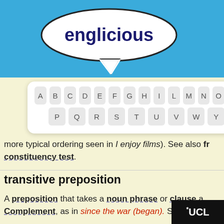[Figure (logo): Englicious speech bubble logo with dark blue text on white oval, pointing down, on blue header background]
[Figure (screenshot): Alphabetical navigation keyboard popup showing letters A B C D E F G H I L M N O on first row and P Q R S T U V W Y on second row, white rounded rectangle on yellow background]
more typical ordering seen in I enjoy films). See also fr constituency test.
transitive preposition
A preposition that takes a noun phrase or clause a Complement, as in since the war (began). See also intr preposition.
transitive verb